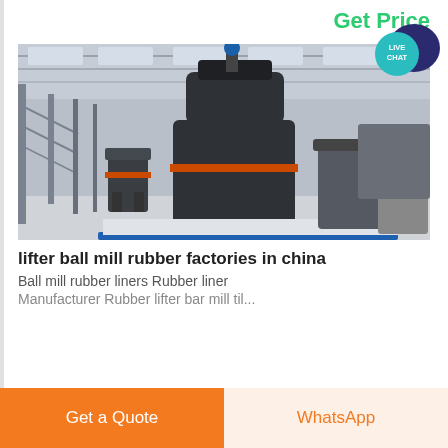Get Price
[Figure (photo): Industrial ball mill machines in a large factory/warehouse setting. Large black cylindrical grinding mills with orange accent bands on a blue platform floor, with steel scaffolding and factory interior visible in background.]
lifter ball mill rubber factories in china
Ball mill rubber liners Rubber liner
Manufacturer Rubber lifter bar mill til...
Get a Quote
WhatsApp